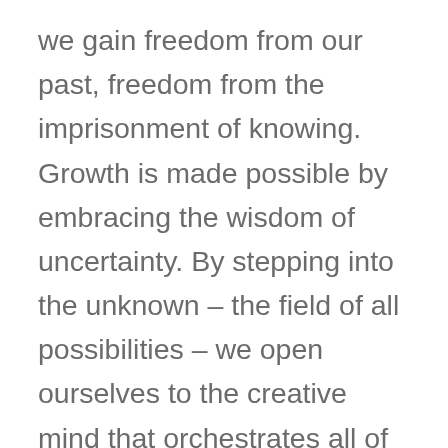we gain freedom from our past, freedom from the imprisonment of knowing. Growth is made possible by embracing the wisdom of uncertainty. By stepping into the unknown – the field of all possibilities – we open ourselves to the creative mind that orchestrates all of life. Willingness to accept uncertainty helps solutions spontaneously emerge from confusion, disorder, and chaos. When you step into the field of all possibilities, you will experience the fun, adventure, magic, and mystery of life. Rather than waiting for the world to become certain to make